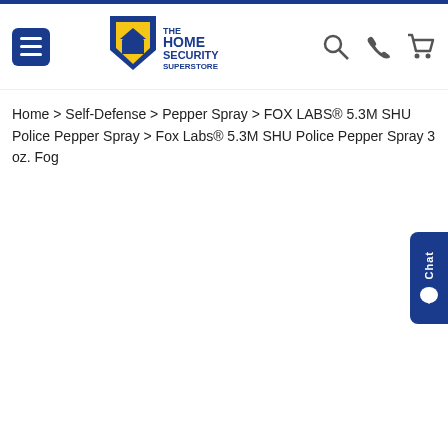[Figure (logo): The Home Security Superstore logo with shield icon and text]
Home > Self-Defense > Pepper Spray > FOX LABS® 5.3M SHU Police Pepper Spray > Fox Labs® 5.3M SHU Police Pepper Spray 3 oz. Fog